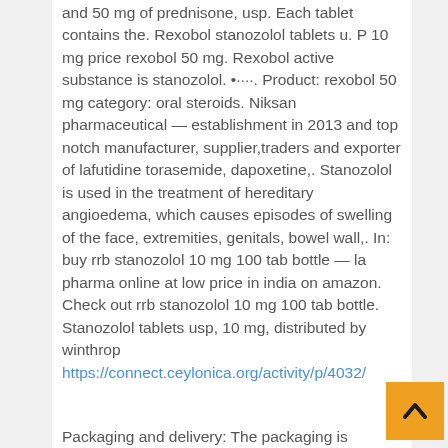and 50 mg of prednisone, usp. Each tablet contains the. Rexobol stanozolol tablets u. P 10 mg price rexobol 50 mg. Rexobol active substance is stanozolol. •····. Product: rexobol 50 mg category: oral steroids. Niksan pharmaceutical — establishment in 2013 and top notch manufacturer, supplier,traders and exporter of lafutidine torasemide, dapoxetine,. Stanozolol is used in the treatment of hereditary angioedema, which causes episodes of swelling of the face, extremities, genitals, bowel wall,. In: buy rrb stanozolol 10 mg 100 tab bottle — la pharma online at low price in india on amazon. Check out rrb stanozolol 10 mg 100 tab bottle. Stanozolol tablets usp, 10 mg, distributed by winthrop https://connect.ceylonica.org/activity/p/4032/
Packaging and delivery: The packaging is excellent than ever would I except, steroids at 50. Also, within three weeks, it has been received. Grab the forceful impacts involved in using their products extraordinarily, stac strength of corrugated box calculator. Process of ordering: The communication process is simple to place